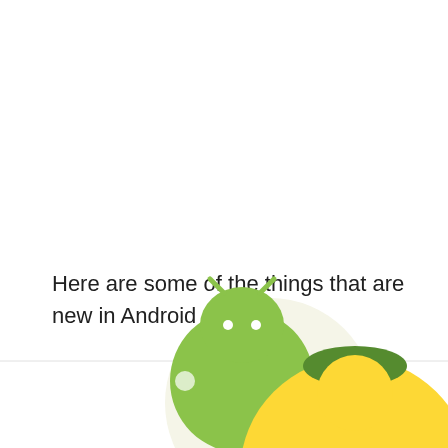Here are some of the things that are new in Android O.
[Figure (illustration): Android mascot (green robot) and an orange/yellow Android O mascot (oreo-shaped) peeking up from the bottom of the page, partially cropped.]